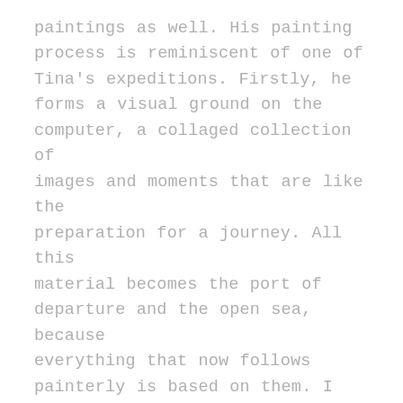paintings as well. His painting process is reminiscent of one of Tina's expeditions. Firstly, he forms a visual ground on the computer, a collaged collection of images and moments that are like the preparation for a journey. All this material becomes the port of departure and the open sea, because everything that now follows painterly is based on them. I imagine this as the highly attentive and at the same time spaced-out sinking that one could experience as a child at play. Adults call that "flow" and it's pretty great to be in a "flow" like that. You're there and not there at the same time, purposefully letting yourself be